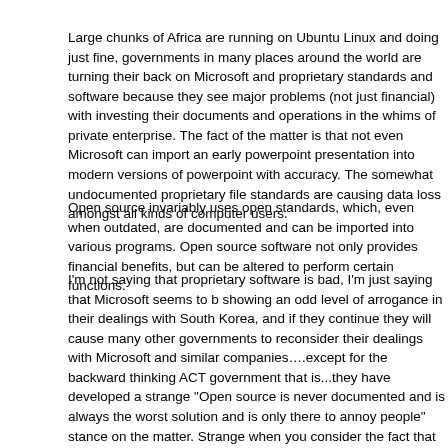Large chunks of Africa are running on Ubuntu Linux and doing just fine, governments in many places around the world are turning their back on Microsoft and proprietary standards and software because they see major problems (not just financial) with investing their documents and operations in the whims of private enterprise. The fact of the matter is that not even Microsoft can import an early powerpoint presentation into modern versions of powerpoint with accuracy. The somewhat undocumented proprietary file standards are causing data loss amongst all kinds of computer users.
Open source invariably uses open standards, which, even when outdated, are documented and can be imported into various programs. Open source software not only provides financial benefits, but can be altered to perform certain functions.
I'm not saying that proprietary software is bad, I'm just saying that Microsoft seems to b showing an odd level of arrogance in their dealings with South Korea, and if they continue they will cause many other governments to reconsider their dealings with Microsoft and similar companies....except for the backward thinking ACT government that is...they have developed a strange "Open source is never documented and is always the worst solution and is only there to annoy people" stance on the matter. Strange when you consider the fact that ANYBODY can write a program which reads and writes Open Office files perfectly (because it is properly documented) and you have to reverse engineer and make guesses to implement a buggy filter for MS files (you try calling Microsoft and asking to see the documentation).